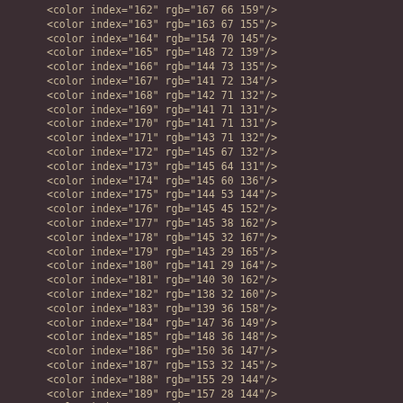<color index="162" rgb="167 66 159"/>
<color index="163" rgb="163 67 155"/>
<color index="164" rgb="154 70 145"/>
<color index="165" rgb="148 72 139"/>
<color index="166" rgb="144 73 135"/>
<color index="167" rgb="141 72 134"/>
<color index="168" rgb="142 71 132"/>
<color index="169" rgb="141 71 131"/>
<color index="170" rgb="141 71 131"/>
<color index="171" rgb="143 71 132"/>
<color index="172" rgb="145 67 132"/>
<color index="173" rgb="145 64 131"/>
<color index="174" rgb="145 60 136"/>
<color index="175" rgb="144 53 144"/>
<color index="176" rgb="145 45 152"/>
<color index="177" rgb="145 38 162"/>
<color index="178" rgb="145 32 167"/>
<color index="179" rgb="143 29 165"/>
<color index="180" rgb="141 29 164"/>
<color index="181" rgb="140 30 162"/>
<color index="182" rgb="138 32 160"/>
<color index="183" rgb="139 36 158"/>
<color index="184" rgb="147 36 149"/>
<color index="185" rgb="148 36 148"/>
<color index="186" rgb="150 36 147"/>
<color index="187" rgb="153 32 145"/>
<color index="188" rgb="155 29 144"/>
<color index="189" rgb="157 28 144"/>
<color index="190" rgb="157 27 145"/>
<color index="191" rgb="158 26 143"/>
<color index="192" rgb="162 26 146"/>
<color index="193" rgb="170 28 150"/>
<color index="194" rgb="175 29 153"/>
<color index="195" rgb="179 29 153"/>
<color index="196" rgb="182 28 154"/>
<color index="197" rgb="181 27 152"/>
<color index="198" rgb="177 30 149"/>
<color index="199" rgb="172 32 145"/>
<color index="200" rgb="166 36 138"/>
<color index="201" rgb="159 40 131"/>
<color index="202" rgb="151 43 123"/>